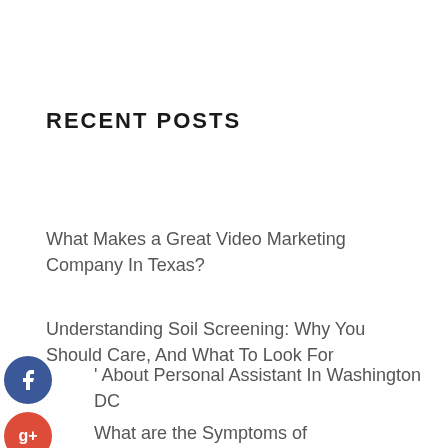RECENT POSTS
What Makes a Great Video Marketing Company In Texas?
Understanding Soil Screening: Why You Should Care, And What To Look For
' About Personal Assistant In Washington DC
What are the Symptoms of Endometriosis?
All You Need to Know About Addiction
TAGS